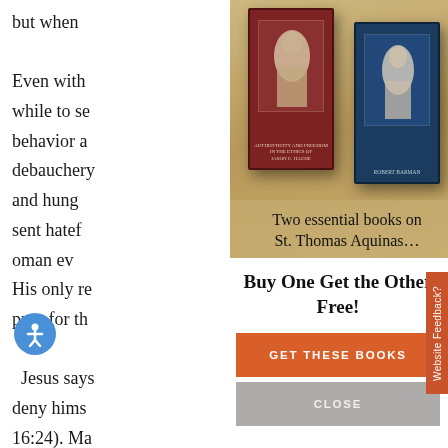but when

Even with
while to se
behavior a
debauchery
and hung
sent hatef
oman ev
His only re
pray for th

Jesus says
deny hims
16:24). Ma
relationsh
[Figure (photo): Two book covers on a tan/beige background: a dark red book on the left with a figure image, and a dark navy blue book on the right with a figure image. Caption reads 'Two essential books on St. Thomas Aquinas...']
Two essential books on
St. Thomas Aquinas…
Buy One Get the Other Free!
GET THESE BOOKS
CLOSE